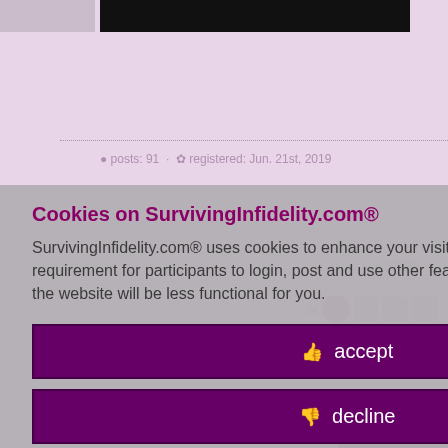[Figure (screenshot): Background of SurvivingInfidelity.com forum page showing top navigation black banner, dotted separator lines, post metadata (posts: 91, registered: Jun. 21st, 2019), user id 8395827, action icons, and partial forum post text]
Cookies on SurvivingInfidelity.com®
SurvivingInfidelity.com® uses cookies to enhance your visit to our website. This is a requirement for participants to login, post and use other features. Visitors may opt out, but the website will be less functional for you.
accept
decline
about cookies